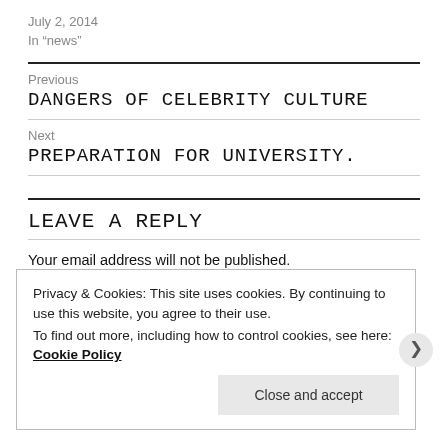July 2, 2014
In "news"
Previous
DANGERS OF CELEBRITY CULTURE
Next
PREPARATION FOR UNIVERSITY.
LEAVE A REPLY
Your email address will not be published.
Required fields are marked *
Privacy & Cookies: This site uses cookies. By continuing to use this website, you agree to their use.
To find out more, including how to control cookies, see here: Cookie Policy
Close and accept